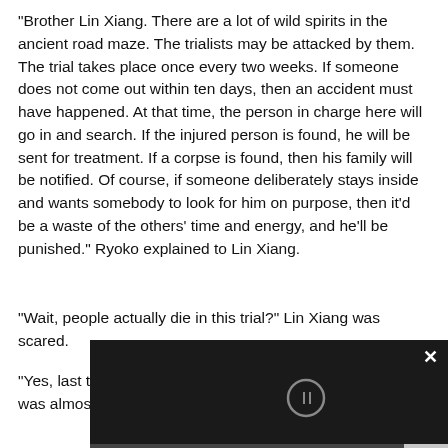“Brother Lin Xiang. There are a lot of wild spirits in the ancient road maze. The trialists may be attacked by them. The trial takes place once every two weeks. If someone does not come out within ten days, then an accident must have happened. At that time, the person in charge here will go in and search. If the injured person is found, he will be sent for treatment. If a corpse is found, then his family will be notified. Of course, if someone deliberately stays inside and wants somebody to look for him on purpose, then it’d be a waste of the others’ time and energy, and he’ll be punished.” Ryoko explained to Lin Xiang.
“Wait, people actually die in this trial?” Lin Xiang was scared.
“Yes, last time I accidentally entered t powerful spirit and was almost killed Fortunately one of my friends…” Ryok